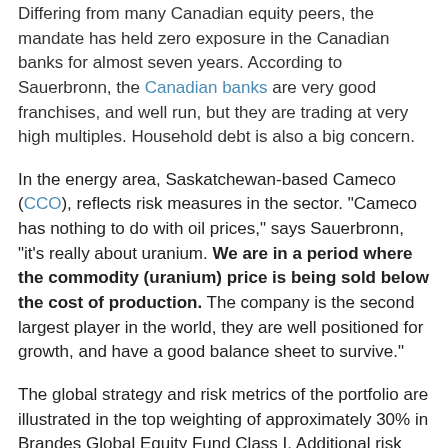Differing from many Canadian equity peers, the mandate has held zero exposure in the Canadian banks for almost seven years. According to Sauerbronn, the Canadian banks are very good franchises, and well run, but they are trading at very high multiples. Household debt is also a big concern.
In the energy area, Saskatchewan-based Cameco (CCO), reflects risk measures in the sector. "Cameco has nothing to do with oil prices," says Sauerbronn, "it's really about uranium. We are in a period where the commodity (uranium) price is being sold below the cost of production. The company is the second largest player in the world, they are well positioned for growth, and have a good balance sheet to survive."
The global strategy and risk metrics of the portfolio are illustrated in the top weighting of approximately 30% in Brandes Global Equity Fund Class I. Additional risk measures include the whole spectrum of small, medium, and large-cap companies.
A continuation of text partially visible at the bottom of the page.